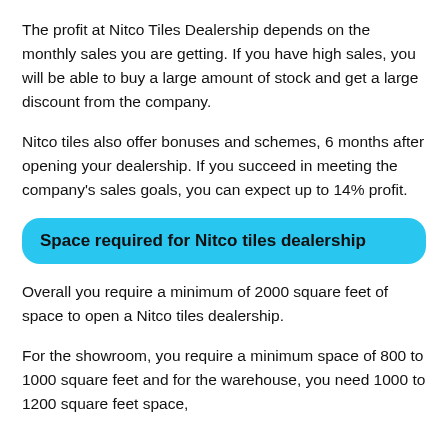The profit at Nitco Tiles Dealership depends on the monthly sales you are getting. If you have high sales, you will be able to buy a large amount of stock and get a large discount from the company.
Nitco tiles also offer bonuses and schemes, 6 months after opening your dealership. If you succeed in meeting the company's sales goals, you can expect up to 14% profit.
Space required for Nitco tiles dealership
Overall you require a minimum of 2000 square feet of space to open a Nitco tiles dealership.
For the showroom, you require a minimum space of 800 to 1000 square feet and for the warehouse, you need 1000 to 1200 square feet space,